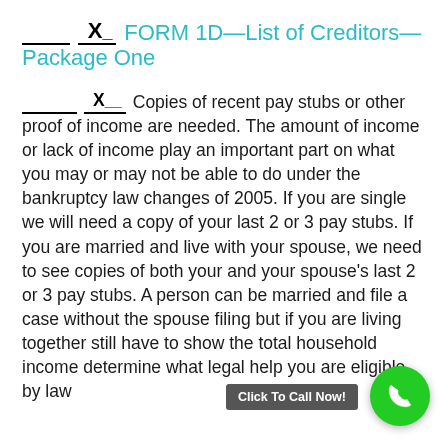_____ __X__ FORM 1D—List of Creditors—Package One
_____ __X___ Copies of recent pay stubs or other proof of income are needed. The amount of income or lack of income play an important part on what you may or may not be able to do under the bankruptcy law changes of 2005. If you are single we will need a copy of your last 2 or 3 pay stubs. If you are married and live with your spouse, we need to see copies of both your and your spouse's last 2 or 3 pay stubs. A person can be married and file a case without the spouse filing but if you are living together still have to show the total household income determine what legal help you are eligible by law